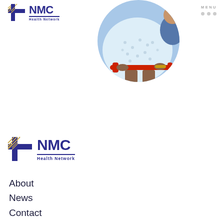[Figure (logo): NMC Health Network logo — top header, small version with cross icon and NMC text]
MENU
[Figure (photo): Circular cropped photo of a patient in hospital gown seated in a wheelchair, partial view showing torso and hands]
[Figure (logo): NMC Health Network logo — larger version in lower section]
About
News
Contact
Careers
Healthy Living